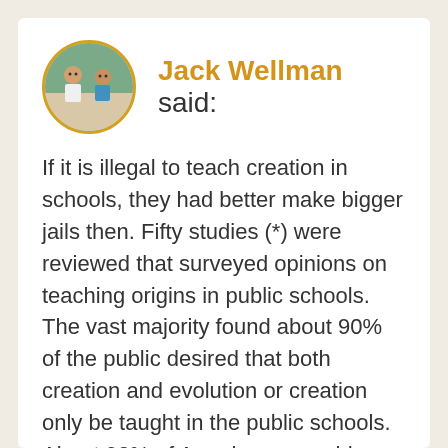[Figure (photo): Circular avatar photo of Jack Wellman with a gold/yellow border, showing a person outdoors]
Jack Wellman said:
If it is illegal to teach creation in schools, they had better make bigger jails then. Fifty studies (*) were reviewed that surveyed opinions on teaching origins in public schools. The vast majority found about 90% of the public desired that both creation and evolution or creation only be taught in the public schools. About 90% of Americans consider themselves creationists of some form, and about half believe that God created humans in their present form within